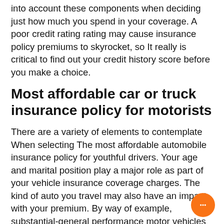into account these components when deciding just how much you spend in your coverage. A poor credit rating rating may cause insurance policy premiums to skyrocket, so It really is critical to find out your credit history score before you make a choice.
Most affordable car or truck insurance policy for motorists
There are a variety of elements to contemplate When selecting The most affordable automobile insurance policy for youthful drivers. Your age and marital position play a major role as part of your vehicle insurance coverage charges. The kind of auto you travel may also have an impact with your premium. By way of example, substantial-general performance motor vehicles are typically more expensive to insure than minimal-functionality automobiles. Hence, the initial step find The most affordable car or truck insurance coverage for youthful motorists is to find a ca... with a variety of protection capabilities